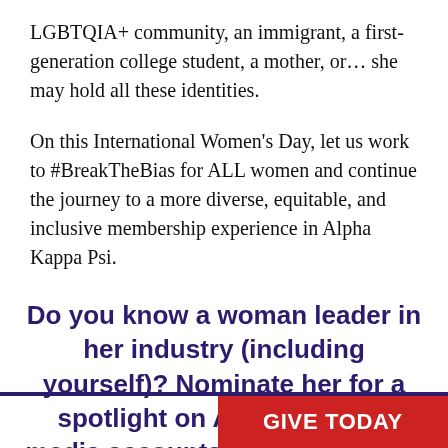LGBTQIA+ community, an immigrant, a first-generation college student, a mother, or… she may hold all these identities.
On this International Women's Day, let us work to #BreakTheBias for ALL women and continue the journey to a more diverse, equitable, and inclusive membership experience in Alpha Kappa Psi.
Do you know a woman leader in her industry (including yourself)? Nominate her for a spotlight on AKPsi's social media accounts. Both collegiate and alumnae members are welcome to b...
GIVE TODAY